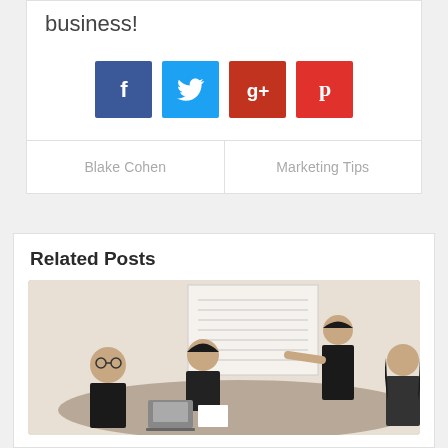business!
[Figure (infographic): Four social media share buttons: Facebook (blue), Twitter (light blue), Google+ (dark red), Pinterest (red)]
Blake Cohen
Marketing Tips
Related Posts
[Figure (photo): A meeting room scene with four people around a table; one person standing and pointing at a whiteboard/chart on the wall, three others seated with laptops.]